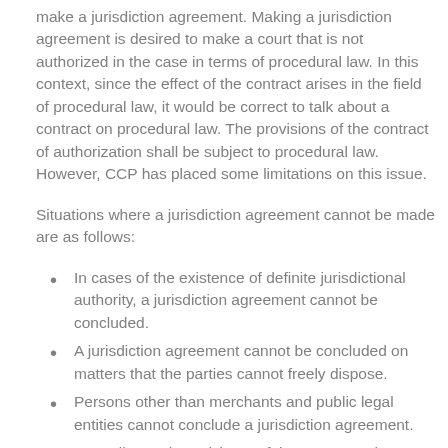make a jurisdiction agreement. Making a jurisdiction agreement is desired to make a court that is not authorized in the case in terms of procedural law. In this context, since the effect of the contract arises in the field of procedural law, it would be correct to talk about a contract on procedural law. The provisions of the contract of authorization shall be subject to procedural law. However, CCP has placed some limitations on this issue.
Situations where a jurisdiction agreement cannot be made are as follows:
In cases of the existence of definite jurisdictional authority, a jurisdiction agreement cannot be concluded.
A jurisdiction agreement cannot be concluded on matters that the parties cannot freely dispose.
Persons other than merchants and public legal entities cannot conclude a jurisdiction agreement.
According to the article 17 of the CCP, merchants or public legal entities may authorize one or more courts with